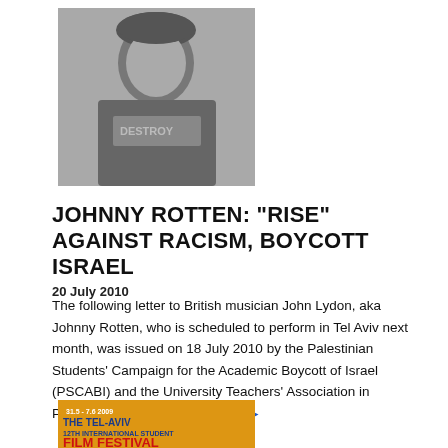[Figure (photo): Black and white photo of Johnny Rotten (John Lydon) wearing a shirt with text, punk style]
JOHNNY ROTTEN: "RISE" AGAINST RACISM, BOYCOTT ISRAEL
20 July 2010
The following letter to British musician John Lydon, aka Johnny Rotten, who is scheduled to perform in Tel Aviv next month, was issued on 18 July 2010 by the Palestinian Students' Campaign for the Academic Boycott of Israel (PSCABI) and the University Teachers' Association in Palestine (UTAP). READ MORE ▶
[Figure (photo): Colorful poster for The Tel-Aviv 12th International Student Film Festival]